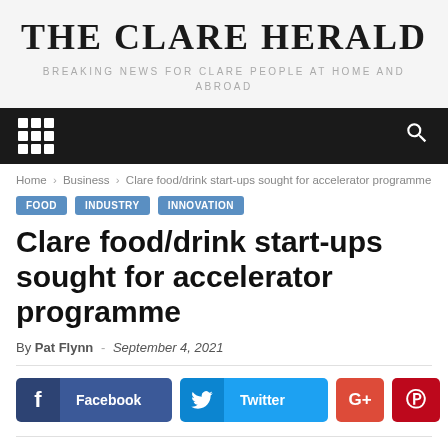THE CLARE HERALD
BREAKING NEWS FOR CLARE PEOPLE AT HOME AND ABROAD
[Figure (screenshot): Black navigation bar with grid menu icon on left and search icon on right]
Home > Business > Clare food/drink start-ups sought for accelerator programme
FOOD   INDUSTRY   INNOVATION
Clare food/drink start-ups sought for accelerator programme
By Pat Flynn - September 4, 2021
[Figure (screenshot): Social share buttons: Facebook, Twitter, Google+, Pinterest]